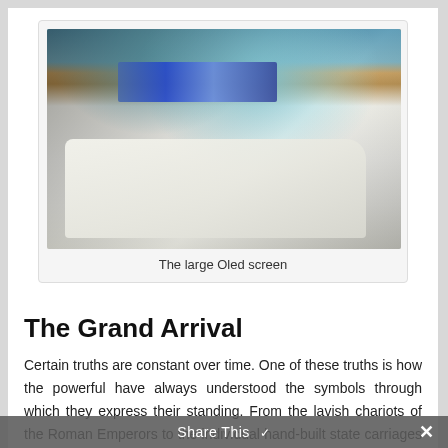[Figure (photo): Interior of a luxury vehicle or aircraft cabin showing a flat bed/seat in white, wooden paneling, a large illuminated OLED screen with blue lighting, and a pillow]
The large Oled screen
The Grand Arrival
Certain truths are constant over time. One of these truths is how the powerful have always understood the symbols through which they express their standing. From the lavish chariots of the Roman Emperors to the individual hand-built state carriages and cars of